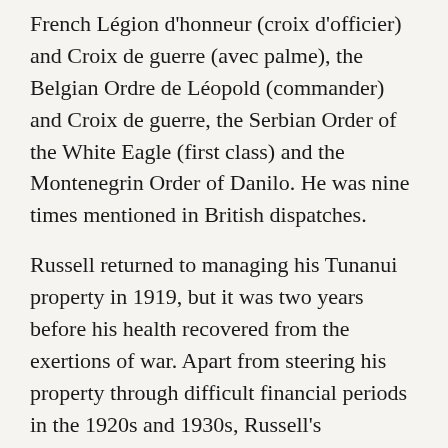French Légion d'honneur (croix d'officier) and Croix de guerre (avec palme), the Belgian Ordre de Léopold (commander) and Croix de guerre, the Serbian Order of the White Eagle (first class) and the Montenegrin Order of Danilo. He was nine times mentioned in British dispatches.
Russell returned to managing his Tunanui property in 1919, but it was two years before his health recovered from the exertions of war. Apart from steering his property through difficult financial periods in the 1920s and 1930s, Russell's preoccupation was the care and welfare of ex-servicemen. He unsuccessfully stood for Parliament as an independent in 1922, and was president of the New Zealand Returned Soldiers' Association from 1921 to 1924, and again from 1927 to 1935. Russell was posted to the retired list in 1932. In 1934 he was appointed honorary colonel of the Wellington Regiment, and in 1937 honorary colonel of the Wellington (East Coast) Mounted Rifles. In 1940 he was made inspector general of New Zealand military